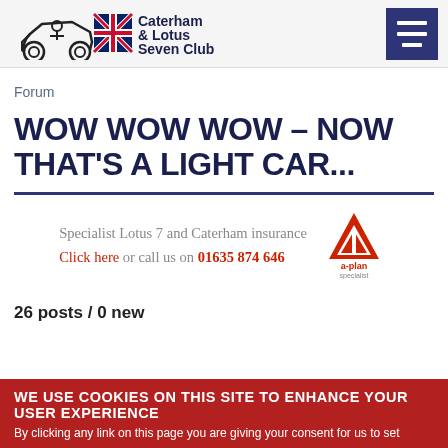Caterham & Lotus Seven Club
Forum
WOW WOW WOW – NOW THAT'S A LIGHT CAR...
[Figure (logo): A-plan specialist insurance logo with red A triangle]
Specialist Lotus 7 and Caterham insurance
Click here or call us on 01635 874 646
26 posts / 0 new
WE USE COOKIES ON THIS SITE TO ENHANCE YOUR USER EXPERIENCE
By clicking any link on this page you are giving your consent for us to set